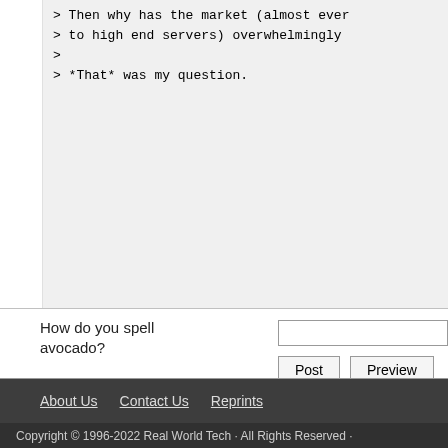> Then why has the market (almost ever
> to high end servers) overwhelmingly
>
> *That* was my question.
How do you spell avocado?
About Us   Contact Us   Reprints
Copyright © 1996-2022 Real World Tech · All Rights Reserved ·